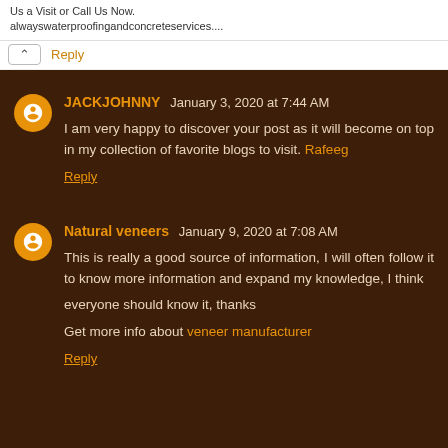Us a Visit or Call Us Now. alwayswaterproofingandconcreteservices....
Reply
JACKJOHNNY January 3, 2020 at 7:44 AM
I am very happy to discover your post as it will become on top in my collection of favorite blogs to visit. Rafeeg
Reply
Natural veneers January 9, 2020 at 7:08 AM
This is really a good source of information, I will often follow it to know more information and expand my knowledge, I think

everyone should know it, thanks

Get more info about veneer manufacturer
Reply